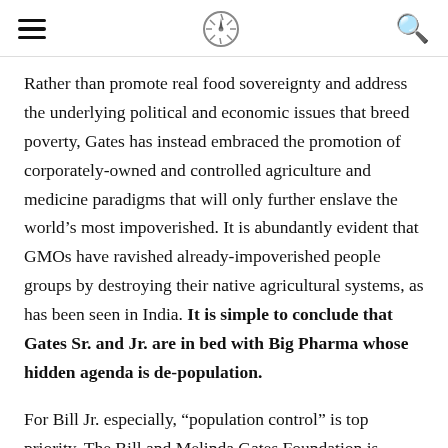[hamburger menu] [compass logo] [search icon]
Rather than promote real food sovereignty and address the underlying political and economic issues that breed poverty, Gates has instead embraced the promotion of corporately-owned and controlled agriculture and medicine paradigms that will only further enslave the world’s most impoverished. It is abundantly evident that GMOs have ravished already-impoverished people groups by destroying their native agricultural systems, as has been seen in India. It is simple to conclude that Gates Sr. and Jr. are in bed with Big Pharma whose hidden agenda is de-population.
For Bill Jr. especially, “population control” is top priority. The Bill and Melinda Gates Foundation is employing a sophisticated eugenics program by partnering with